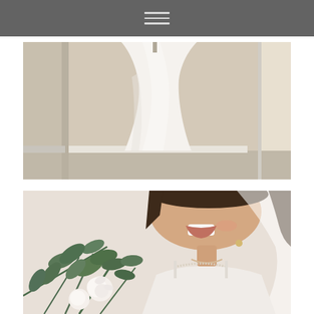Navigation menu
[Figure (photo): Close-up photograph of a white wedding dress hanging in a room with light beige/cream walls and white baseboard trim. The dress is flowing and the skirt fills most of the frame.]
[Figure (photo): Portrait photograph of a smiling bride wearing a white sleeveless gown with beaded neckline detail, a white veil, and holding a bouquet of white roses and green eucalyptus leaves. Only the lower face and upper body are visible.]